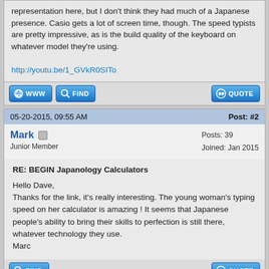representation here, but I don't think they had much of a Japanese presence. Casio gets a lot of screen time, though. The speed typists are pretty impressive, as is the build quality of the keyboard on whatever model they're using.

http://youtu.be/1_GVkR0SITo
05-20-2015, 09:55 AM  Post: #2
Mark  Junior Member  Posts: 39  Joined: Jan 2015
RE: BEGIN Japanology Calculators

Hello Dave,
Thanks for the link, it's really interesting. The young woman's typing speed on her calculator is amazing ! It seems that Japanese people's ability to bring their skills to perfection is still there, whatever technology they use.
Marc
05-20-2015, 11:15 AM  Post: #3
PANAMATIK  Posts: 1,026